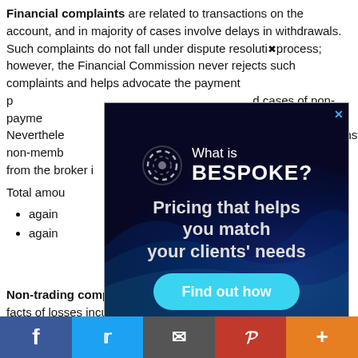Financial complaints are related to transactions on the account, and in majority of cases involve delays in withdrawals. Such complaints do not fall under dispute resolution process; however, the Financial Commission never rejects such complaints and helps advocate the payment process and assists in documenting confirmed cases of non-payment, taking further action with such companies. Nevertheless, regardless of submitted complaints against non-member companies, there is no enforcement from the broker itself.
Total amount of claims filed:
against member companies
against non-member companies
[Figure (infographic): Advertisement overlay: 'What is BESPOKE? Pricing that helps you match your clients' needs. Find out how.' with dark blue background and wave graphics.]
Non-trading complaints are often clients' complaints about the facts of losses incurred as a result of cooperation with the administering traders and sales consultants. To a lesser extent these are complaints for automatic copying transactions systems and